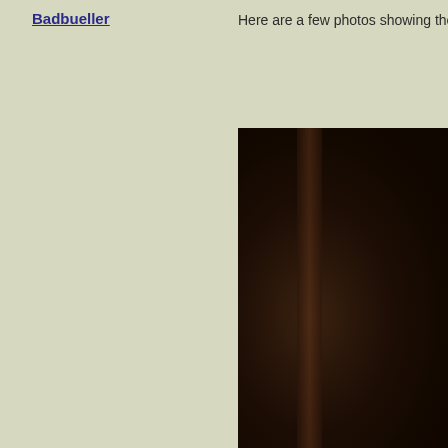Badbueller
Here are a few photos showing the contact at the vent, the misali
[Figure (photo): Dark brown fabric or material showing folds and shadows, photographed close-up. The image is mostly very dark brown/near-black with subtle highlights showing fabric texture and a fold/crease running diagonally.]